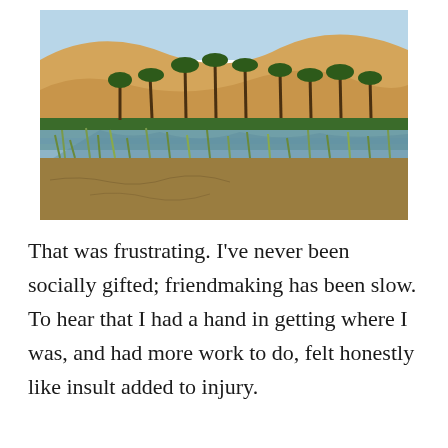[Figure (photo): A desert oasis scene showing sand dunes in the background, palm trees and green vegetation lining a reflective water body in the middle, and dry cracked sandy ground with grasses in the foreground.]
That was frustrating. I've never been socially gifted; friendmaking has been slow. To hear that I had a hand in getting where I was, and had more work to do, felt honestly like insult added to injury.